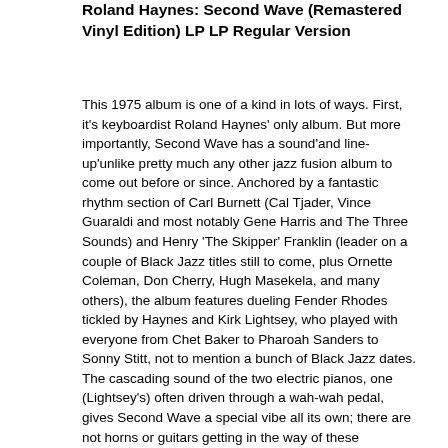Roland Haynes: Second Wave (Remastered Vinyl Edition) LP LP Regular Version
This 1975 album is one of a kind in lots of ways. First, it's keyboardist Roland Haynes' only album. But more importantly, Second Wave has a sound'and line-up'unlike pretty much any other jazz fusion album to come out before or since. Anchored by a fantastic rhythm section of Carl Burnett (Cal Tjader, Vince Guaraldi and most notably Gene Harris and The Three Sounds) and Henry 'The Skipper' Franklin (leader on a couple of Black Jazz titles still to come, plus Ornette Coleman, Don Cherry, Hugh Masekela, and many others), the album features dueling Fender Rhodes tickled by Haynes and Kirk Lightsey, who played with everyone from Chet Baker to Pharoah Sanders to Sonny Stitt, not to mention a bunch of Black Jazz dates. The cascading sound of the two electric pianos, one (Lightsey's) often driven through a wah-wah pedal, gives Second Wave a special vibe all its own; there are not horns or guitars getting in the way of these mindblowing keyboard jams. Some folks might hear a little '70s-era Miles Davis when Joe Zawinul, Chick Corea, Keith Jarrett and/or Herbie Hancock were in the band, and Hancock's own Head Hunters